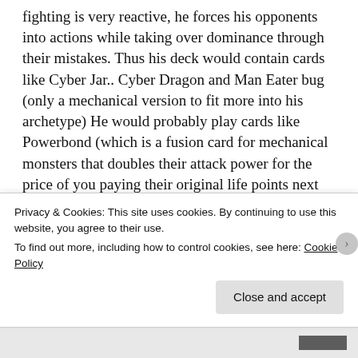fighting is very reactive, he forces his opponents into actions while taking over dominance through their mistakes. Thus his deck would contain cards like Cyber Jar.. Cyber Dragon and Man Eater bug (only a mechanical version to fit more into his archetype) He would probably play cards like Powerbond (which is a fusion card for mechanical monsters that doubles their attack power for the price of you paying their original life points next turn). Kamina will have a deck along the lines of Jaden Yuki.. Elemental Hero/Neos contact fusion decks, maybe some XYZeed  cards, again with a mechanical twist.. but still very much in line with the
Privacy & Cookies: This site uses cookies. By continuing to use this website, you agree to their use.
To find out more, including how to control cookies, see here: Cookie Policy
Close and accept